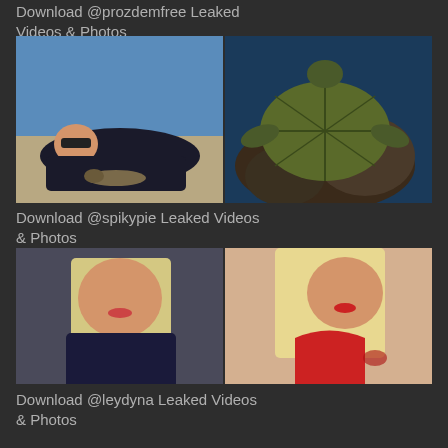Download @prozdemfree Leaked Videos & Photos
[Figure (photo): Two-panel photo: left shows a young man with sunglasses lying on the ground close to a small reptile/snake, right shows a sea turtle near coral underwater]
Download @spikypie Leaked Videos & Photos
[Figure (photo): Two-panel photo: left shows a blonde woman in a dark top taking a selfie, right shows a blonde woman in a red bikini]
Download @leydyna Leaked Videos & Photos
[Figure (photo): Partially visible photo at bottom, cut off]